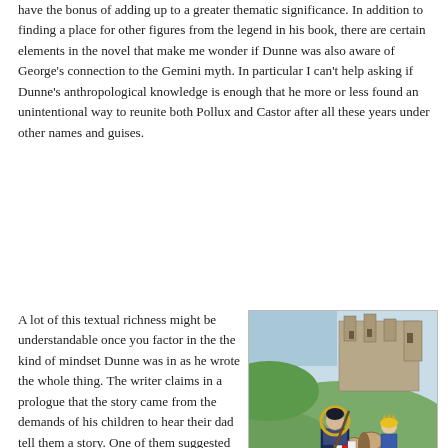have the bonus of adding up to a greater thematic significance. In addition to finding a place for other figures from the legend in his book, there are certain elements in the novel that make me wonder if Dunne was also aware of George's connection to the Gemini myth. In particular I can't help asking if Dunne's anthropological knowledge is enough that he more or less found an unintentional way to reunite both Pollux and Castor after all these years under other names and guises.
A lot of this textual richness might be understandable once you factor in the the kind of mindset Dunne was in as he wrote the whole thing. The writer claims in a prologue that the story came from the demands of his children to hear their dad tell them a story. One of them suggested they here something about the dragon-slaying Saint. Dunne confesses he didn't know what they were talking about. His children seemed to have to prod the story out of him. If that's
[Figure (illustration): Medieval illuminated manuscript illustration depicting Saint George on horseback, wearing armor with a red cross on white shield, alongside a young figure (possibly a princess) with a castle in the background and a dragon being slain at the bottom.]